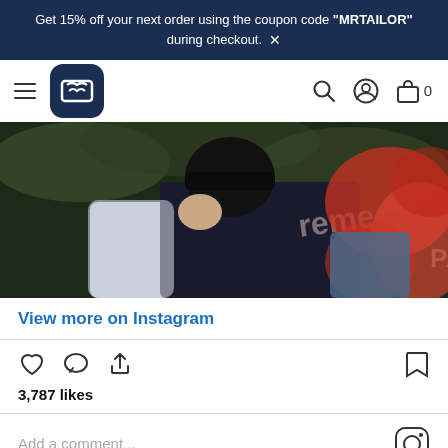Get 15% off your next order using the coupon code "MRTAILOR" during checkout. ×
[Figure (logo): MrTailor brand logo - white stylized icon on dark navy rounded square]
[Figure (photo): Person wearing a dark Supreme sweatshirt and cap, holding up collar, with red smoke in background outdoors]
View more on Instagram
3,787 likes
Add a comment...